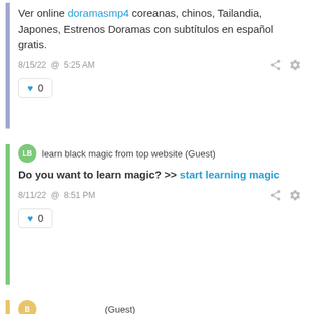Ver online doramasmp4 coreanas, chinos, Tailandia, Japones, Estrenos Doramas con subtítulos en español gratis.
8/15/22 @ 5:25 AM
0
learn black magic from top website (Guest)
Do you want to learn magic? >> start learning magic
8/11/22 @ 8:51 PM
0
(Guest)